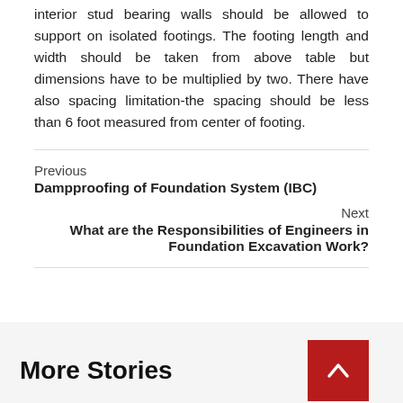interior stud bearing walls should be allowed to support on isolated footings. The footing length and width should be taken from above table but dimensions have to be multiplied by two. There have also spacing limitation-the spacing should be less than 6 foot measured from center of footing.
Previous
Dampproofing of Foundation System (IBC)
Next
What are the Responsibilities of Engineers in Foundation Excavation Work?
More Stories